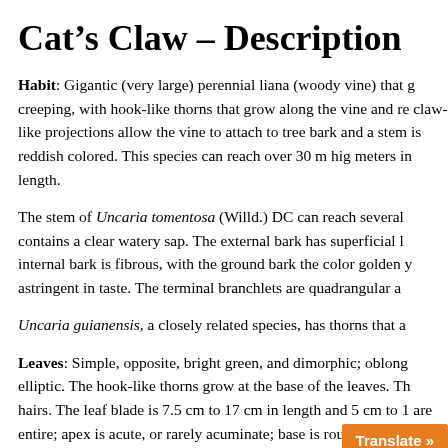Cat's Claw – Description
Habit: Gigantic (very large) perennial liana (woody vine) that g creeping, with hook-like thorns that grow along the vine and re claw-like projections allow the vine to attach to tree bark and a stem is reddish colored. This species can reach over 30 m hig meters in length.
The stem of Uncaria tomentosa (Willd.) DC can reach several contains a clear watery sap. The external bark has superficial l internal bark is fibrous, with the ground bark the color golden y astringent in taste. The terminal branchlets are quadrangular a
Uncaria guianensis, a closely related species, has thorns that a
Leaves: Simple, opposite, bright green, and dimorphic; oblong elliptic. The hook-like thorns grow at the base of the leaves. Th hairs. The leaf blade is 7.5 cm to 17 cm in length and 5 cm to 1 are entire; apex is acute, or rarely acuminate; base is round an stipules are deltoid, 6 mm to 12 mm long